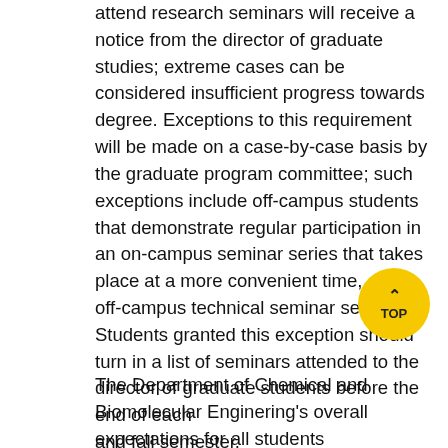attend research seminars will receive a notice from the director of graduate studies; extreme cases can be considered insufficient progress towards degree. Exceptions to this requirement will be made on a case-by-case basis by the graduate program committee; such exceptions include off-campus students that demonstrate regular participation in an on-campus seminar series that takes place at a more convenient time, or an off-campus technical seminar series. Students granted this exception should turn in a list of seminars attended to the director of graduate students before the end of each and fall semester.
The Department of Chemical and Biomolecular Enginering's overall expectations for all students